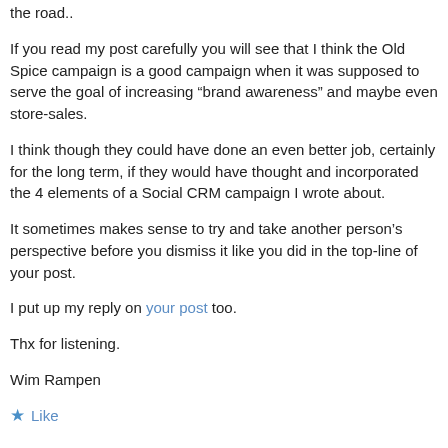the road..
If you read my post carefully you will see that I think the Old Spice campaign is a good campaign when it was supposed to serve the goal of increasing “brand awareness” and maybe even store-sales.
I think though they could have done an even better job, certainly for the long term, if they would have thought and incorporated the 4 elements of a Social CRM campaign I wrote about.
It sometimes makes sense to try and take another person’s perspective before you dismiss it like you did in the top-line of your post.
I put up my reply on your post too.
Thx for listening.
Wim Rampen
★ Like